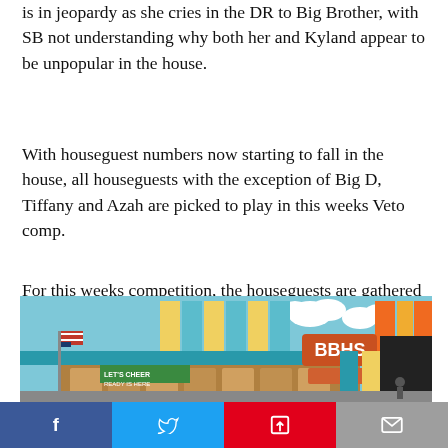is in jeopardy as she cries in the DR to Big Brother, with SB not understanding why both her and Kyland appear to be unpopular in the house.
With houseguest numbers now starting to fall in the house, all houseguests with the exception of Big D, Tiffany and Azah are picked to play in this weeks Veto comp.
For this weeks competition, the houseguests are gathered in the living room to watch a sneak peak of the new “Dear Evan Hansen” film.
[Figure (photo): Outdoor Big Brother competition set styled as a high school (BBHS) with colorful teal and yellow/orange walls, an American flag, banners, and houseguests visible in the background.]